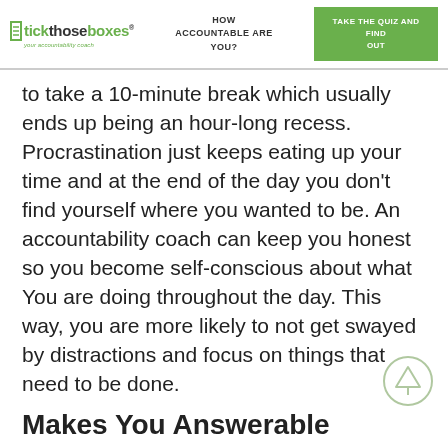tickthoseboxes® your accountability coach | HOW ACCOUNTABLE ARE YOU? | TAKE THE QUIZ AND FIND OUT
to take a 10-minute break which usually ends up being an hour-long recess. Procrastination just keeps eating up your time and at the end of the day you don't find yourself where you wanted to be. An accountability coach can keep you honest so you become self-conscious about what You are doing throughout the day. This way, you are more likely to not get swayed by distractions and focus on things that need to be done.
Makes You Answerable